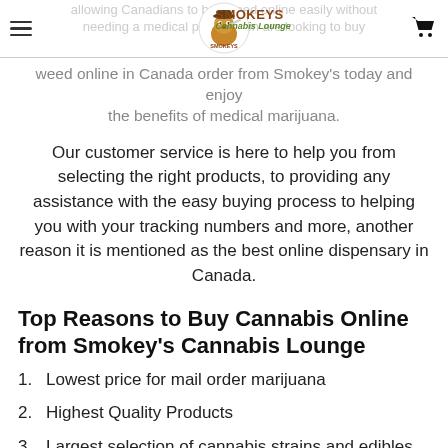Smokeys Cannabis Lounge
allowing Canadians to buy weed online easily without needing a medical prescription are looking to buy weed online in Canada order from Smokey's today and enjoy the benefits of medical marijuana.
Our customer service is here to help you from selecting the right products, to providing any assistance with the easy buying process to helping you with your tracking numbers and more, another reason it is mentioned as the best online dispensary in Canada.
Top Reasons to Buy Cannabis Online from Smokey's Cannabis Lounge
1. Lowest price for mail order marijuana
2. Highest Quality Products
3. Largest selection of cannabis strains and edibles
4. Helpful customer service